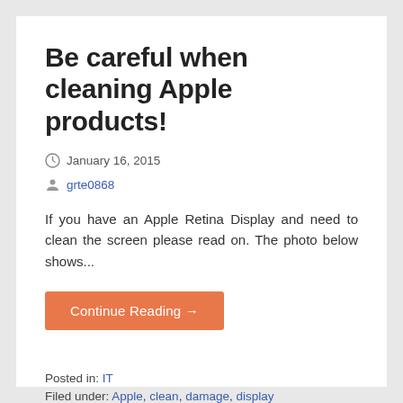Be careful when cleaning Apple products!
January 16, 2015
grte0868
If you have an Apple Retina Display and need to clean the screen please read on. The photo below shows...
Continue Reading →
Posted in: IT
Filed under: Apple, clean, damage, display